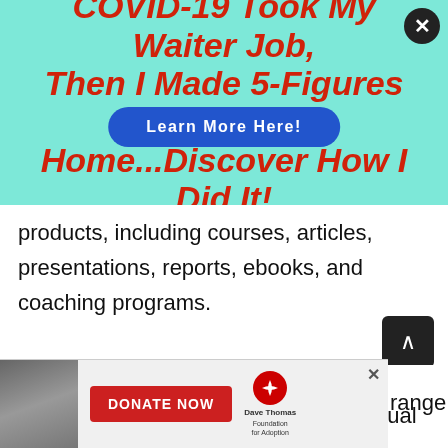[Figure (infographic): Advertisement banner with teal/cyan background showing red bold italic text: COVID-19 Took My Waiter Job, Then I Made 5-Figures From Home...Discover How I Did It! with a blue oval Learn More Here! button overlaid. A close (X) button is in the top right corner.]
products, including courses, articles, presentations, reports, ebooks, and coaching programs.
It differs from other PLR sources by focusing more on bundles than individual
[Figure (infographic): Bottom advertisement banner showing a woman's photo, a red DONATE NOW button, and Dave Thomas Foundation for Adoption logo. An X close button is in the top right of the ad.]